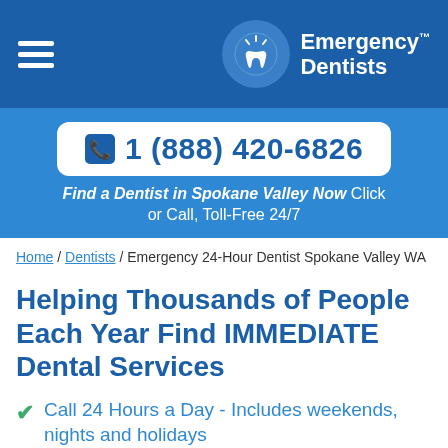Emergency Dentists
1 (888) 420-6826
Find a Dentist in Spokane Valley Now Click or Call, Toll-Free 24/7
Home / Dentists / Emergency 24-Hour Dentist Spokane Valley WA
Helping Thousands of People Each Year Find IMMEDIATE Dental Services
Call 24 Hours a Day - Includes weekends, nights and holidays
Find immediate help, no insurance required.